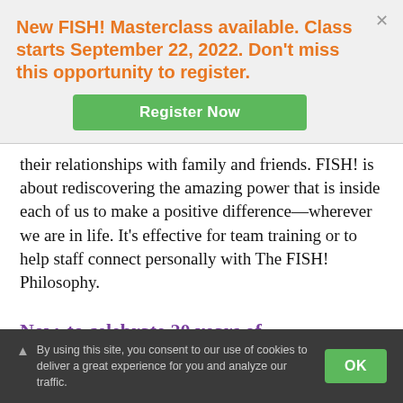New FISH! Masterclass available. Class starts September 22, 2022. Don't miss this opportunity to register.
Register Now
their relationships with family and friends. FISH! is about rediscovering the amazing power that is inside each of us to make a positive difference—wherever we are in life. It's effective for team training or to help staff connect personally with The FISH! Philosophy.
Now, to celebrate 20 years of
By using this site, you consent to our use of cookies to deliver a great experience for you and analyze our traffic.